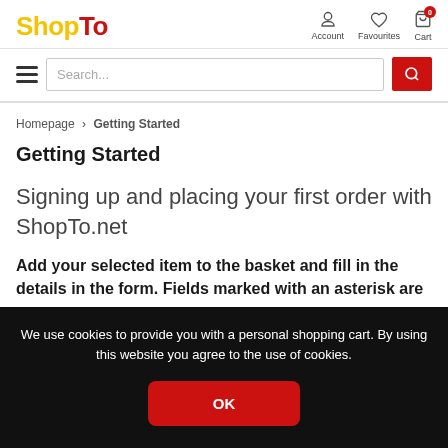ShopTo — Account, Favourites, Cart
Homepage > Getting Started
Getting Started
Signing up and placing your first order with ShopTo.net
Add your selected item to the basket and fill in the details in the form. Fields marked with an asterisk are
We use cookies to provide you with a personal shopping cart. By using this website you agree to the use of cookies.
OK